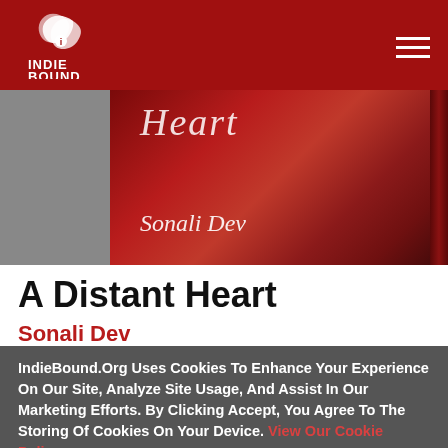[Figure (logo): IndieBound logo with white bird/feather graphic and text INDIE BOUND on dark red header background]
[Figure (photo): Book cover photo of A Distant Heart by Sonali Dev, showing a red leather-bound book with title and author name in italic script]
A Distant Heart
Sonali Dev
IndieBound.Org Uses Cookies To Enhance Your Experience On Our Site, Analyze Site Usage, And Assist In Our Marketing Efforts. By Clicking Accept, You Agree To The Storing Of Cookies On Your Device. View Our Cookie Policy.
Give me more info